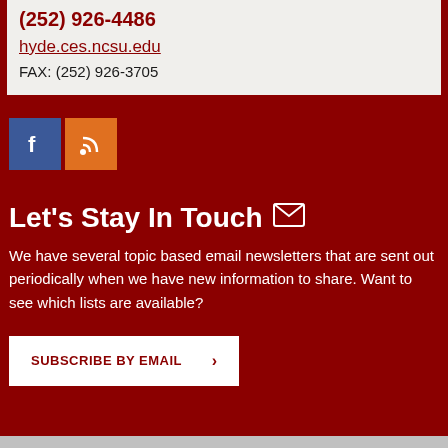(252) 926-4486
hyde.ces.ncsu.edu
FAX: (252) 926-3705
[Figure (logo): Facebook and RSS feed social media icons]
Let's Stay In Touch
We have several topic based email newsletters that are sent out periodically when we have new information to share. Want to see which lists are available?
SUBSCRIBE BY EMAIL >